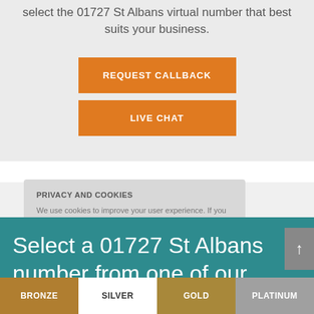select the 01727 St Albans virtual number that best suits your business.
REQUEST CALLBACK
LIVE CHAT
PRIVACY AND COOKIES
We use cookies to improve your user experience. If you continue browsing, we assume that you consent to our use of cookies.
Select a 01727 St Albans number from one of our ranges:
BRONZE
SILVER
GOLD
PLATINUM